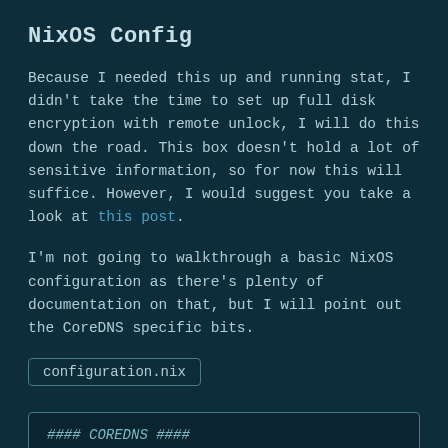NixOS Config
Because I needed this up and running stat, I didn't take the time to set up full disk encryption with remote unlock, I will do this down the road. This box doesn't hold a lot of sensitive information, so for now this will suffice. However, I would suggest you take a look at this post.
I'm not going to walkthrough a basic NixOS configuration as there's plenty of documentation on that, but I will point out the CoreDNS specific bits.
configuration.nix
#### COREDNS ####